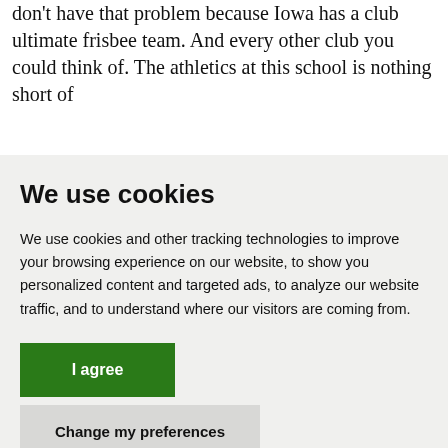don't have that problem because Iowa has a club ultimate frisbee team. And every other club you could think of. The athletics at this school is nothing short of
We use cookies
We use cookies and other tracking technologies to improve your browsing experience on our website, to show you personalized content and targeted ads, to analyze our website traffic, and to understand where our visitors are coming from.
I agree
Change my preferences